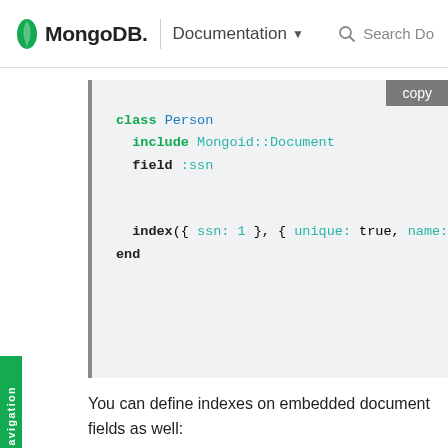MongoDB. | Documentation ▼   🔍 Search Do
[Figure (screenshot): Code block showing Ruby/Mongoid class Person with include Mongoid::Document, field :ssn, and index({ ssn: 1 }, { unique: true, name: "ssn_" with a copy button]
You can define indexes on embedded document fields as well:
[Figure (screenshot): Code block showing Ruby/Mongoid class Person with include Mongoid::Document, embeds_many :addresses with a copy button]